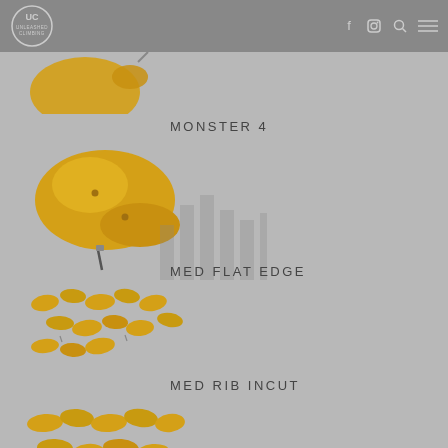Unleashed Climbing
[Figure (photo): Yellow climbing hold partially visible at top of page]
MONSTER 4
[Figure (photo): Yellow large climbing hold (Monster 4) with screw]
[Figure (photo): Watermark/background icon of bar chart style]
MED FLAT EDGE
[Figure (photo): Set of yellow medium flat edge climbing holds]
MED RIB INCUT
[Figure (photo): Set of yellow med rib incut climbing holds partially visible]